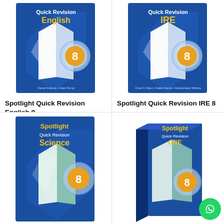[Figure (photo): Spotlight Quick Revision English 8 book cover - blue background with magnifying glass over open book]
Spotlight Quick Revision English 8
KES 638
Add to basket
[Figure (photo): Spotlight Quick Revision IRE 8 book cover - blue background with magnifying glass over open book]
Spotlight Quick Revision IRE 8
KES 551
Add to basket
[Figure (photo): Spotlight Quick Revision Science 8 book cover - blue background with magnifying glass over open book]
[Figure (photo): Spotlight Quick Revision CRE 8 book cover - blue background, shown as 3D standing book]